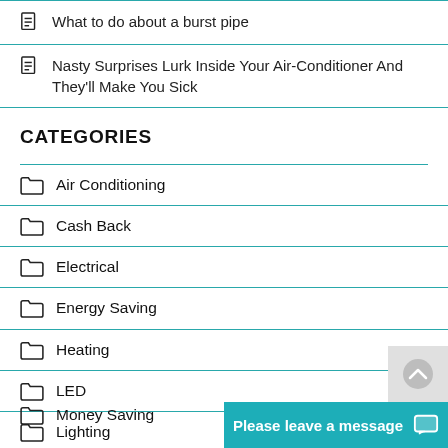What to do about a burst pipe
Nasty Surprises Lurk Inside Your Air-Conditioner And They'll Make You Sick
CATEGORIES
Air Conditioning
Cash Back
Electrical
Energy Saving
Heating
LED
Lighting
Money Saving